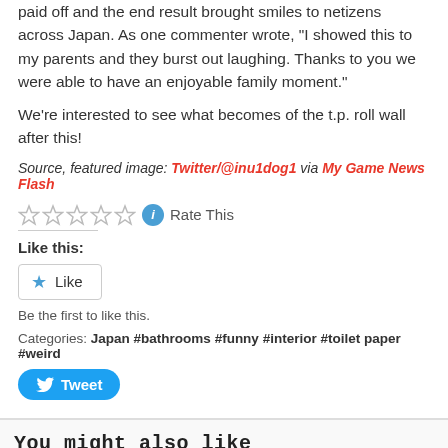paid off and the end result brought smiles to netizens across Japan. As one commenter wrote, “I showed this to my parents and they burst out laughing. Thanks to you we were able to have an enjoyable family moment.”
We’re interested to see what becomes of the t.p. roll wall after this!
Source, featured image: Twitter/@inu1dog1 via My Game News Flash
Rate This
Like this:
Like
Be the first to like this.
Categories: Japan #bathrooms #funny #interior #toilet paper #weird
Tweet
You might also like
People in Japan are now stealing toilet paper in midst of coronavirus crisis